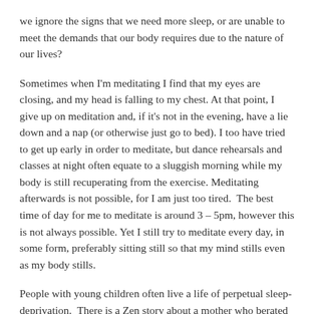we ignore the signs that we need more sleep, or are unable to meet the demands that our body requires due to the nature of our lives?
Sometimes when I'm meditating I find that my eyes are closing, and my head is falling to my chest. At that point, I give up on meditation and, if it's not in the evening, have a lie down and a nap (or otherwise just go to bed). I too have tried to get up early in order to meditate, but dance rehearsals and classes at night often equate to a sluggish morning while my body is still recuperating from the exercise. Meditating afterwards is not possible, for I am just too tired.  The best time of day for me to meditate is around 3 – 5pm, however this is not always possible. Yet I still try to meditate every day, in some form, preferably sitting still so that my mind stills even as my body stills.
People with young children often live a life of perpetual sleep-deprivation.  There is a Zen story about a mother who berated herself for not having the time to spend in meditation as she